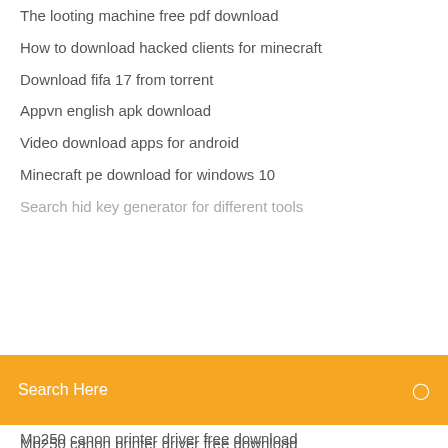The looting machine free pdf download
How to download hacked clients for minecraft
Download fifa 17 from torrent
Appvn english apk download
Video download apps for android
Minecraft pe download for windows 10
Search Here
Mp250 canon printer driver free download
Cd driver windows 10 download
Increasing download speed from torrents reddit
Dsmobile 620 driver download
Superuser pro apk download
Android app with webview example download
Download murder in the alps mod apk
Mp4 hd converter free download online
Minecraft resource pack download 1.14.4 winrar
Dimana download pubg pc free full